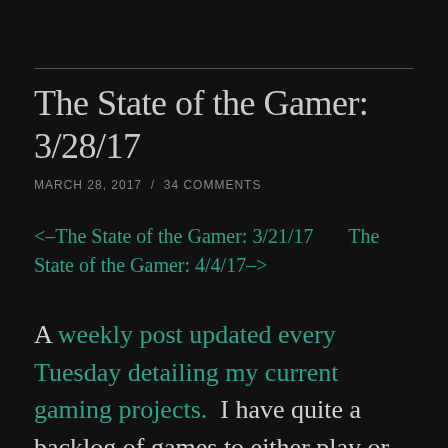The State of the Gamer: 3/28/17
MARCH 28, 2017  /  34 COMMENTS
<–The State of the Gamer: 3/21/17        The State of the Gamer: 4/4/17–>
A weekly post updated every Tuesday detailing my current gaming projects.  I have quite a backlog of games to either play or watch, and I'm hoping a weekly article will assist with my progress as my other accountable posts have done with reading